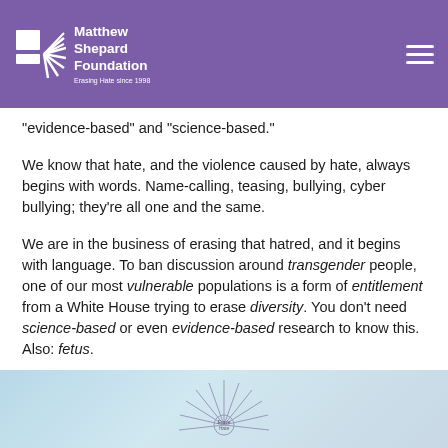Matthew Shepard Foundation — Erasing Hate since 1998
“evidence-based” and “science-based.”
We know that hate, and the violence caused by hate, always begins with words. Name-calling, teasing, bullying, cyber bullying; they’re all one and the same.
We are in the business of erasing that hatred, and it begins with language. To ban discussion around transgender people, one of our most vulnerable populations is a form of entitlement from a White House trying to erase diversity. You don’t need science-based or even evidence-based research to know this. Also: fetus.
[Figure (illustration): Partial view of an Erase Hate logo/graphic with radiating lines on a light blue background]